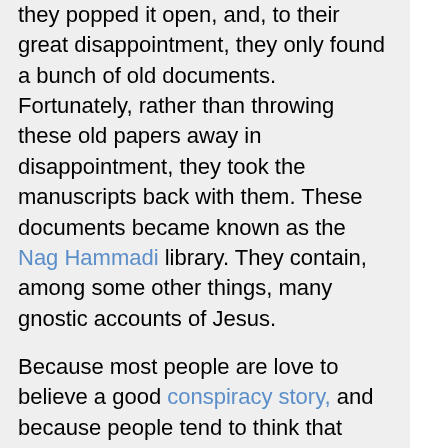they popped it open, and, to their great disappointment, they only found a bunch of old documents. Fortunately, rather than throwing these old papers away in disappointment, they took the manuscripts back with them. These documents became known as the Nag Hammadi library. They contain, among some other things, many gnostic accounts of Jesus.

Because most people are love to believe a good conspiracy story, and because people tend to think that denying and repressing something is actually confirming its veracity, the stories contained in these gnostic accounts are thought to be somehow more